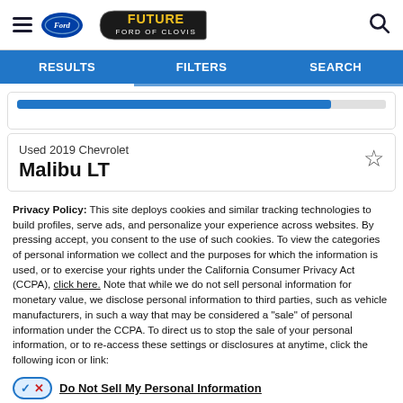[Figure (logo): Future Ford of Clovis dealership logo with Ford oval badge and hamburger menu icon]
RESULTS   FILTERS   SEARCH
Used 2019 Chevrolet Malibu LT
Privacy Policy: This site deploys cookies and similar tracking technologies to build profiles, serve ads, and personalize your experience across websites. By pressing accept, you consent to the use of such cookies. To view the categories of personal information we collect and the purposes for which the information is used, or to exercise your rights under the California Consumer Privacy Act (CCPA), click here. Note that while we do not sell personal information for monetary value, we disclose personal information to third parties, such as vehicle manufacturers, in such a way that may be considered a "sale" of personal information under the CCPA. To direct us to stop the sale of your personal information, or to re-access these settings or disclosures at anytime, click the following icon or link:
Do Not Sell My Personal Information
Language: English    Powered by ComplyAuto
Accept and Continue →   California Privacy Disclosures